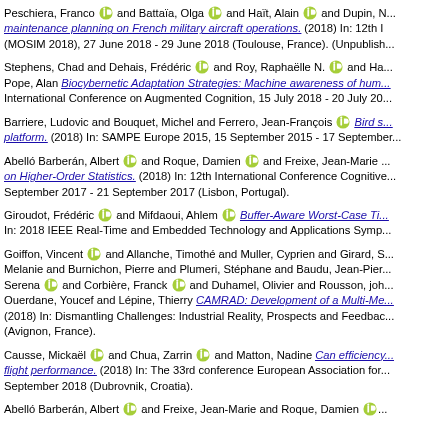Peschiera, Franco [ORCID] and Battaïa, Olga [ORCID] and Haït, Alain [ORCID] and Dupin, N... maintenance planning on French military aircraft operations. (2018) In: 12th ... (MOSIM 2018), 27 June 2018 - 29 June 2018 (Toulouse, France). (Unpublish...
Stephens, Chad and Dehais, Frédéric [ORCID] and Roy, Raphaëlle N. [ORCID] and Ha... Pope, Alan Biocybernetic Adaptation Strategies: Machine awareness of hum... International Conference on Augmented Cognition, 15 July 2018 - 20 July 20...
Barriere, Ludovic and Bouquet, Michel and Ferrero, Jean-François [ORCID] Bird s... platform. (2018) In: SAMPE Europe 2015, 15 September 2015 - 17 September...
Abelló Barberán, Albert [ORCID] and Roque, Damien [ORCID] and Freixe, Jean-Marie ... on Higher-Order Statistics. (2018) In: 12th International Conference Cognitive... September 2017 - 21 September 2017 (Lisbon, Portugal).
Giroudot, Frédéric [ORCID] and Mifdaoui, Ahlem [ORCID] Buffer-Aware Worst-Case Ti... In: 2018 IEEE Real-Time and Embedded Technology and Applications Symp...
Goiffon, Vincent [ORCID] and Allanche, Timothé and Muller, Cyprien and Girard, S... Melanie and Burnichon, Pierre and Plumeri, Stéphane and Baudu, Jean-Pier... Serena [ORCID] and Corbière, Franck [ORCID] and Duhamel, Olivier and Rousson, joh... Ouerdane, Youcef and Lépine, Thierry CAMRAD: Development of a Multi-Me... (2018) In: Dismantling Challenges: Industrial Reality, Prospects and Feedbac... (Avignon, France).
Causse, Mickaël [ORCID] and Chua, Zarrin [ORCID] and Matton, Nadine Can efficiency... flight performance. (2018) In: The 33rd conference European Association for... September 2018 (Dubrovnik, Croatia).
Abelló Barberán, Albert [ORCID] and Freixe, Jean-Marie and Roque, Damien [ORCID]...